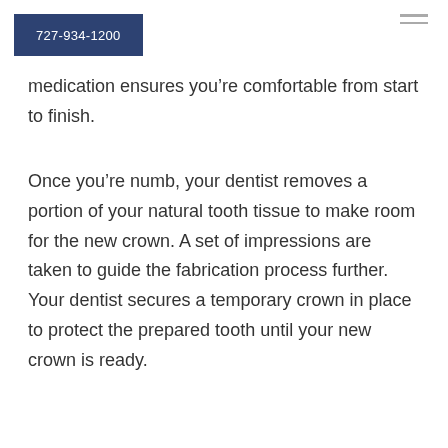727-934-1200
medication ensures you’re comfortable from start to finish.
Once you’re numb, your dentist removes a portion of your natural tooth tissue to make room for the new crown. A set of impressions are taken to guide the fabrication process further. Your dentist secures a temporary crown in place to protect the prepared tooth until your new crown is ready.